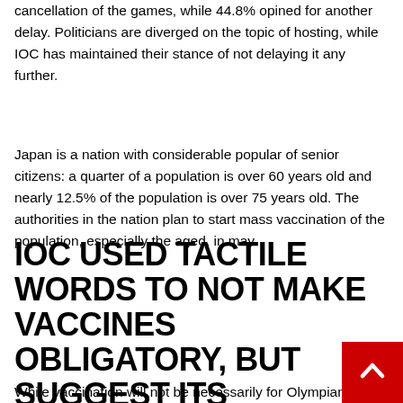cancellation of the games, while 44.8% opined for another delay. Politicians are diverged on the topic of hosting, while IOC has maintained their stance of not delaying it any further.
Japan is a nation with considerable popular of senior citizens: a quarter of a population is over 60 years old and nearly 12.5% of the population is over 75 years old. The authorities in the nation plan to start mass vaccination of the population, especially the aged, in may.
IOC USED TACTILE WORDS TO NOT MAKE VACCINES OBLIGATORY, BUT SUGGEST ITS ADVANTAGES TO THE ATHLETES
While vaccination will not be necessarily for Olympians, IOC